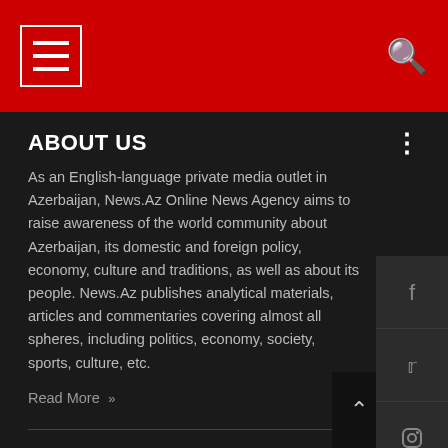Navigation bar with hamburger menu and search icon
ABOUT US
As an English-language private media outlet in Azerbaijan, News.Az Online News Agency aims to raise awareness of the world community about Azerbaijan, its domestic and foreign policy, economy, culture and traditions, as well as about its people. News.Az publishes analytical materials, articles and commentaries covering almost all spheres, including politics, economy, society, sports, culture, etc.
Read More »
CATEGORIES
Politics
Azerbaijan